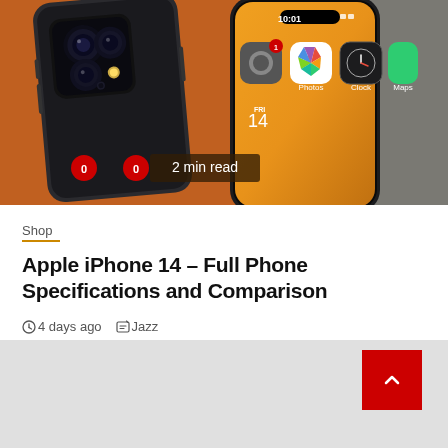[Figure (photo): Hero image showing two iPhone 14 devices — left showing back camera module, right showing front screen with iOS home screen icons. Orange textured background with water droplet effect on far right. Two red notification badges showing '0' and a '2 min read' badge overlay.]
Shop
Apple iPhone 14 – Full Phone Specifications and Comparison
4 days ago   Jazz